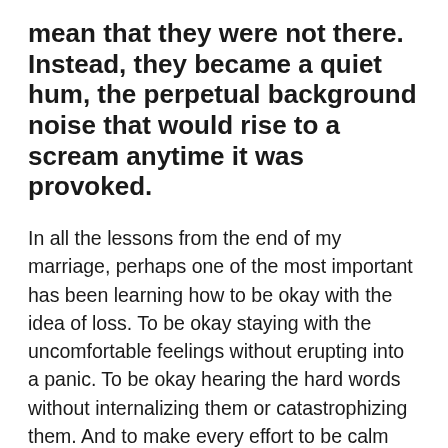mean that they were not there. Instead, they became a quiet hum, the perpetual background noise that would rise to a scream anytime it was provoked.
In all the lessons from the end of my marriage, perhaps one of the most important has been learning how to be okay with the idea of loss. To be okay staying with the uncomfortable feelings without erupting into a panic. To be okay hearing the hard words without internalizing them or catastrophizing them. And to make every effort to be calm even when my now-husband is expressing things I would rather not hear.
Because part of making marriage a safe space is